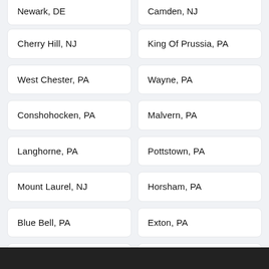Newark, DE
Camden, NJ
Cherry Hill, NJ
King Of Prussia, PA
West Chester, PA
Wayne, PA
Conshohocken, PA
Malvern, PA
Langhorne, PA
Pottstown, PA
Mount Laurel, NJ
Horsham, PA
Blue Bell, PA
Exton, PA
New Castle, DE
Upper Darby, PA